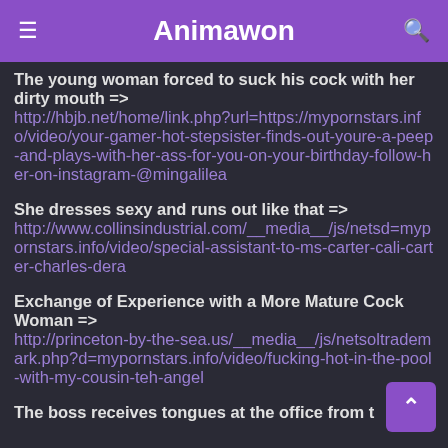Animawon
The young woman forced to suck his cock with her dirty mouth => http://hbjb.net/home/link.php?url=https://mypornstars.info/video/your-gamer-hot-stepsister-finds-out-youre-a-peep-and-plays-with-her-ass-for-you-on-your-birthday-follow-her-on-instagram-@mingalilea
She dresses sexy and runs out like that => http://www.collinsindustrial.com/__media__/js/netsd=mypornstars.info/video/special-assistant-to-ms-carter-cali-carter-charles-dera
Exchange of Experience with a More Mature Cock Woman => http://princeton-by-the-sea.us/__media__/js/netsoltrademark.php?d=mypornstars.info/video/fucking-hot-in-the-pool-with-my-cousin-teh-angel
The boss receives tongues at the office from t...